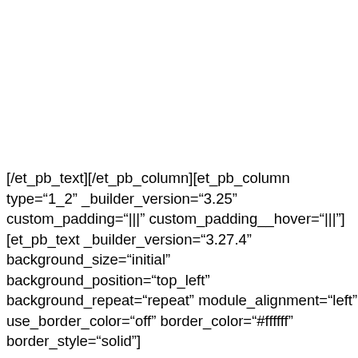[/et_pb_text][/et_pb_column][et_pb_column type="1_2" _builder_version="3.25" custom_padding="|||" custom_padding__hover="|||"][et_pb_text _builder_version="3.27.4" background_size="initial" background_position="top_left" background_repeat="repeat" module_alignment="left" use_border_color="off" border_color="#ffffff" border_style="solid"]